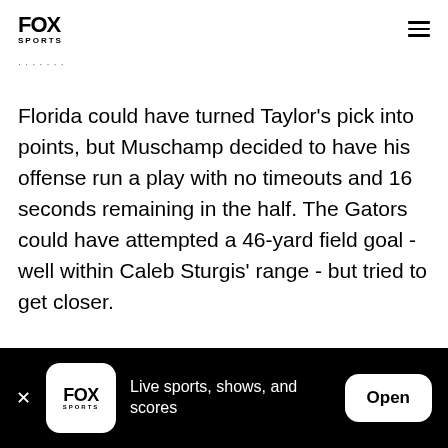FOX SPORTS
· · · · · · ·
Florida could have turned Taylor's pick into points, but Muschamp decided to have his offense run a play with no timeouts and 16 seconds remaining in the half. The Gators could have attempted a 46-yard field goal - well within Caleb Sturgis' range - but tried to get closer.
Driskel got sacked, allowing the clock to run out.
FOX SPORTS  Live sports, shows, and scores  Open